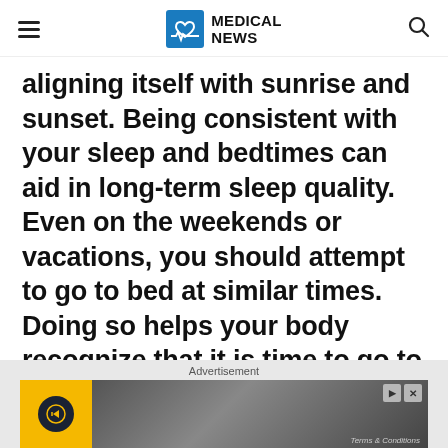MEDICAL NEWS
aligning itself with sunrise and sunset. Being consistent with your sleep and bedtimes can aid in long-term sleep quality. Even on the weekends or vacations, you should attempt to go to bed at similar times. Doing so helps your body recognize that it is time to go to sleep and help you wind down quicker.
[Figure (other): Advertisement banner with dark navy background, yellow accent bars, compass icon in yellow square, and an image of hands on the right side with play and close controls. Terms & Conditions text in bottom right.]